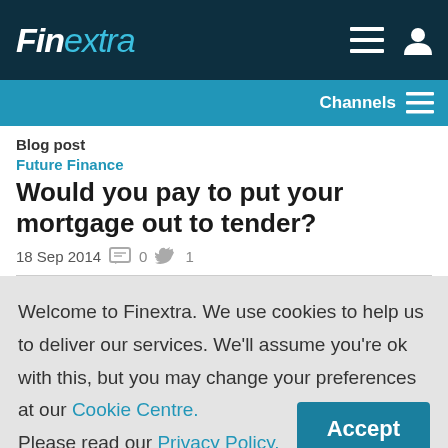Finextra
Channels
Blog post
Future Finance
Would you pay to put your mortgage out to tender?
18 Sep 2014   0   1
Welcome to Finextra. We use cookies to help us to deliver our services. We'll assume you're ok with this, but you may change your preferences at our Cookie Centre. Please read our Privacy Policy.